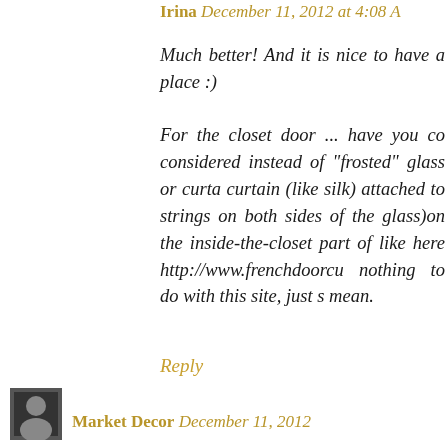Irina December 11, 2012 at 4:08 A
Much better! And it is nice to have a place :)
For the closet door ... have you considered instead of "frosted" glass or curtain (like silk) attached to strings on both sides of glass)on the inside-the-closet part of like here http://www.frenchdoorcu nothing to do with this site, just s mean.
Reply
Market Decor December 11, 2012